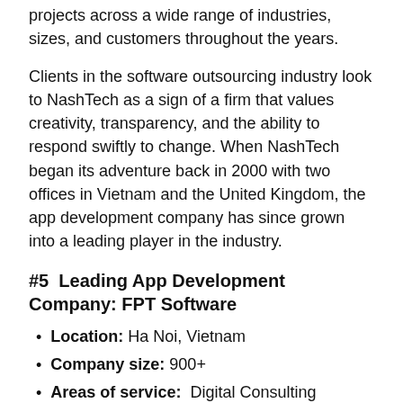projects across a wide range of industries, sizes, and customers throughout the years.
Clients in the software outsourcing industry look to NashTech as a sign of a firm that values creativity, transparency, and the ability to respond swiftly to change. When NashTech began its adventure back in 2000 with two offices in Vietnam and the United Kingdom, the app development company has since grown into a leading player in the industry.
#5  Leading App Development Company: FPT Software
Location: Ha Noi, Vietnam
Company size: 900+
Areas of service:  Digital Consulting Services, Digital Technology Services, Outsourcing Services
Focusing on the talents of a wide range of Vietnamese